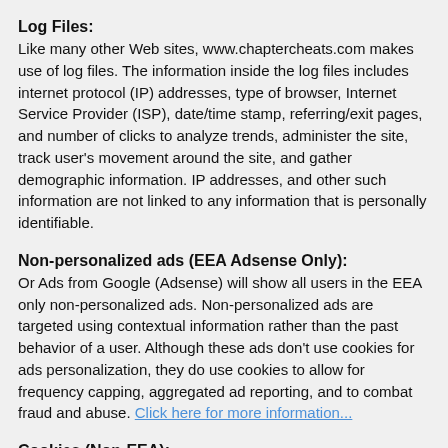Log Files:
Like many other Web sites, www.chaptercheats.com makes use of log files. The information inside the log files includes internet protocol (IP) addresses, type of browser, Internet Service Provider (ISP), date/time stamp, referring/exit pages, and number of clicks to analyze trends, administer the site, track user's movement around the site, and gather demographic information. IP addresses, and other such information are not linked to any information that is personally identifiable.
Non-personalized ads (EEA Adsense Only):
Or Ads from Google (Adsense) will show all users in the EEA only non-personalized ads. Non-personalized ads are targeted using contextual information rather than the past behavior of a user. Although these ads don't use cookies for ads personalization, they do use cookies to allow for frequency capping, aggregated ad reporting, and to combat fraud and abuse. Click here for more information...
Cookies (Non-EEA):